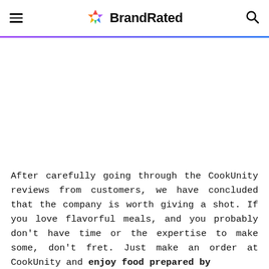BrandRated
[Figure (illustration): White blank space representing an image placeholder area below the header divider]
After carefully going through the CookUnity reviews from customers, we have concluded that the company is worth giving a shot. If you love flavorful meals, and you probably don't have time or the expertise to make some, don't fret. Just make an order at CookUnity and enjoy food prepared by